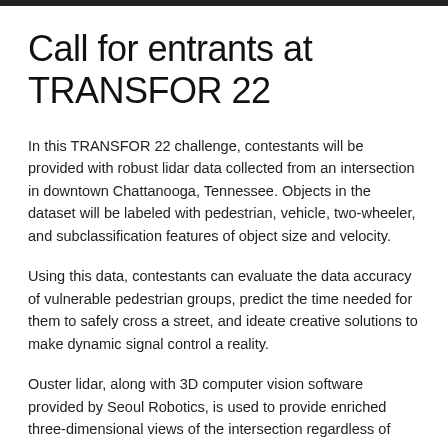Call for entrants at TRANSFOR 22
In this TRANSFOR 22 challenge, contestants will be provided with robust lidar data collected from an intersection in downtown Chattanooga, Tennessee. Objects in the dataset will be labeled with pedestrian, vehicle, two-wheeler, and subclassification features of object size and velocity.
Using this data, contestants can evaluate the data accuracy of vulnerable pedestrian groups, predict the time needed for them to safely cross a street, and ideate creative solutions to make dynamic signal control a reality.
Ouster lidar, along with 3D computer vision software provided by Seoul Robotics, is used to provide enriched three-dimensional views of the intersection regardless of